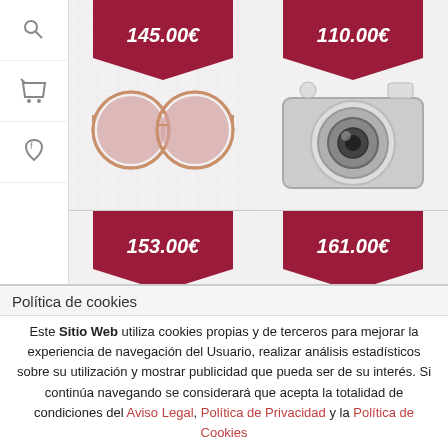[Figure (screenshot): E-commerce product grid showing sunglasses and camera with price tags. Top-left: round pink sunglasses 145.00€, top-right: camera 110.00€, bottom-left: sunglasses 153.00€, bottom-right: sunglasses 161.00€]
Política de cookies
Este Sitio Web utiliza cookies propias y de terceros para mejorar la experiencia de navegación del Usuario, realizar análisis estadísticos sobre su utilización y mostrar publicidad que pueda ser de su interés. Si continúa navegando se considerará que acepta la totalidad de condiciones del Aviso Legal, Política de Privacidad y la Política de Cookies